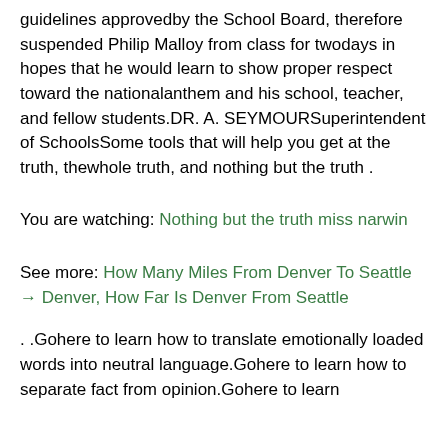guidelines approvedby the School Board, therefore suspended Philip Malloy from class for twodays in hopes that he would learn to show proper respect toward the nationalanthem and his school, teacher, and fellow students.DR. A. SEYMOURSuperintendent of SchoolsSome tools that will help you get at the truth, thewhole truth, and nothing but the truth .
You are watching: Nothing but the truth miss narwin
See more: How Many Miles From Denver To Seattle → Denver, How Far Is Denver From Seattle
. .Gohere to learn how to translate emotionally loaded words into neutral language.Gohere to learn how to separate fact from opinion.Gohere to learn